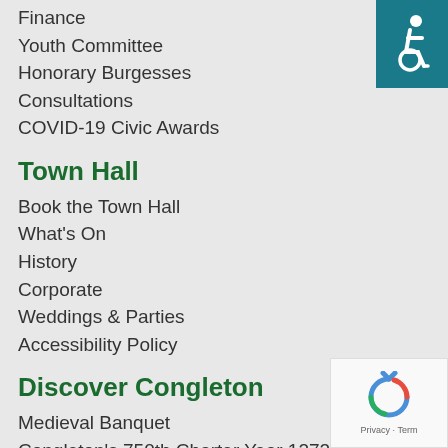Finance
Youth Committee
Honorary Burgesses
Consultations
COVID-19 Civic Awards
Town Hall
Book the Town Hall
What's On
History
Corporate
Weddings & Parties
Accessibility Policy
Discover Congleton
Medieval Banquet
Congleton's 750th Charter Year 1272-2022
Congleton Paddling Pool
Congleton Tree Group
The Queen's Platinum Jubilee
[Figure (logo): Accessibility icon - white wheelchair user on teal/dark cyan background]
[Figure (logo): reCAPTCHA logo with Privacy and Terms text]